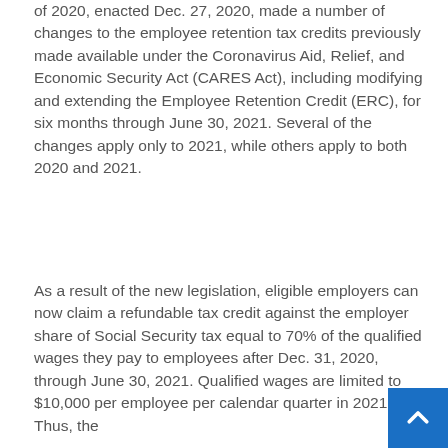of 2020, enacted Dec. 27, 2020, made a number of changes to the employee retention tax credits previously made available under the Coronavirus Aid, Relief, and Economic Security Act (CARES Act), including modifying and extending the Employee Retention Credit (ERC), for six months through June 30, 2021. Several of the changes apply only to 2021, while others apply to both 2020 and 2021.
As a result of the new legislation, eligible employers can now claim a refundable tax credit against the employer share of Social Security tax equal to 70% of the qualified wages they pay to employees after Dec. 31, 2020, through June 30, 2021. Qualified wages are limited to $10,000 per employee per calendar quarter in 2021. Thus, the